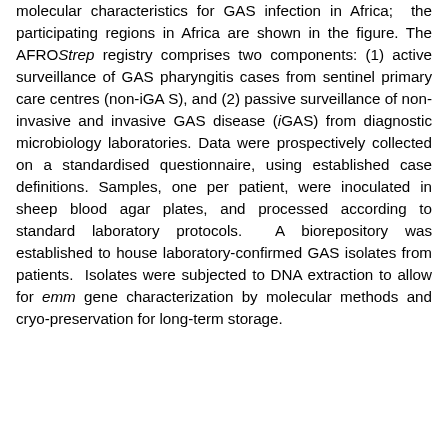molecular characteristics for GAS infection in Africa; the participating regions in Africa are shown in the figure. The AFROStrep registry comprises two components: (1) active surveillance of GAS pharyngitis cases from sentinel primary care centres (non-iGA S), and (2) passive surveillance of non-invasive and invasive GAS disease (iGAS) from diagnostic microbiology laboratories. Data were prospectively collected on a standardised questionnaire, using established case definitions. Samples, one per patient, were inoculated in sheep blood agar plates, and processed according to standard laboratory protocols.  A biorepository was established to house laboratory-confirmed GAS isolates from patients.  Isolates were subjected to DNA extraction to allow for emm gene characterization by molecular methods and cryo-preservation for long-term storage.